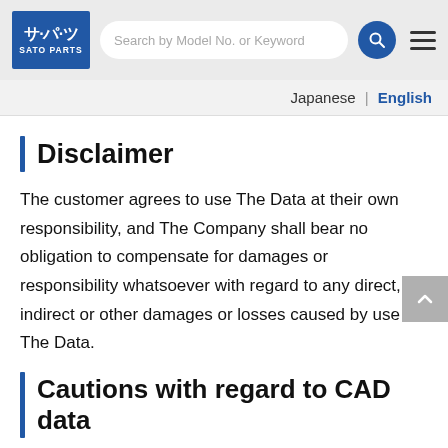SATO PARTS — Search by Model No. or Keyword
Japanese | English
Disclaimer
The customer agrees to use The Data at their own responsibility, and The Company shall bear no obligation to compensate for damages or responsibility whatsoever with regard to any direct, indirect or other damages or losses caused by use of The Data.
Cautions with regard to CAD data